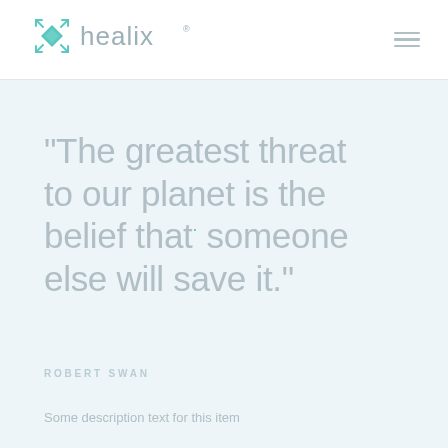[Figure (logo): Healix logo with teal geometric diamond/star icon and 'healix' wordmark in gray with registered trademark symbol]
"The greatest threat to our planet is the belief that someone else will save it."
ROBERT SWAN
Some description text for this item